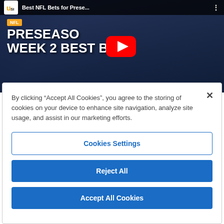[Figure (screenshot): YouTube video thumbnail showing NFL Preseason Week 2 Best Bets with VegasInsider's Kevin Rogers. Shows football players, NFL badge in yellow, large white bold text reading 'PRESEASON WEEK 2 BEST BETS', red YouTube play button centered, and video title bar at top reading 'Best NFL Bets for Prese...' with VegasInsider logo.]
By clicking “Accept All Cookies”, you agree to the storing of cookies on your device to enhance site navigation, analyze site usage, and assist in our marketing efforts.
Cookies Settings
Reject All
Accept All Cookies